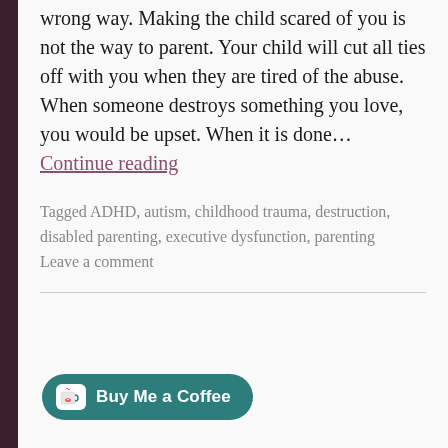wrong way. Making the child scared of you is not the way to parent. Your child will cut all ties off with you when they are tired of the abuse.  When someone destroys something you love, you would be upset. When it is done… Continue reading
Tagged ADHD, autism, childhood trauma, destruction, disabled parenting, executive dysfunction, parenting
Leave a comment
[Figure (other): Buy Me a Coffee button — teal rounded rectangle with white coffee cup icon and text 'Buy Me a Coffee']